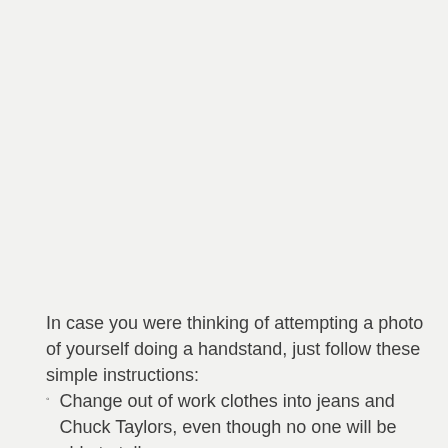In case you were thinking of attempting a photo of yourself doing a handstand, just follow these simple instructions:
Change out of work clothes into jeans and Chuck Taylors, even though no one will be able to tell